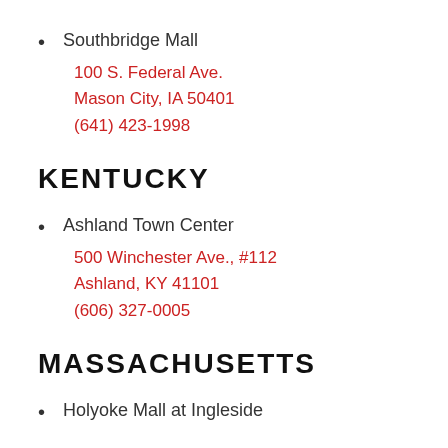Southbridge Mall
100 S. Federal Ave.
Mason City, IA 50401
(641) 423-1998
KENTUCKY
Ashland Town Center
500 Winchester Ave., #112
Ashland, KY 41101
(606) 327-0005
MASSACHUSETTS
Holyoke Mall at Ingleside